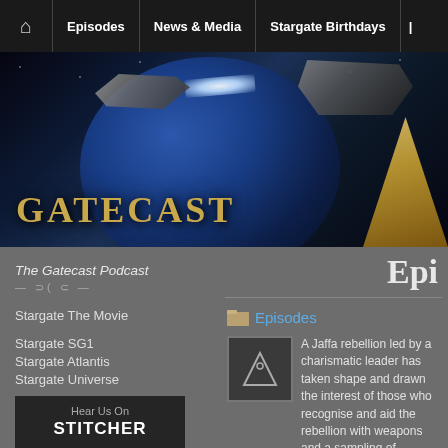Episodes | News & Media | Stargate Birthdays
[Figure (illustration): Gatecast banner with space background, starships, planet, pyramid structure, and GATECAST logo in gold text]
The Gatecast Podcast
Epi
Stargate The Movie
Stargate SG1
Stargate Atlantis
Stargate Universe
Episode by Episode
Stargate Forever
Episodes
A Jaffa rebellion led by a charismatic leader has taken shape and drawn the interest of those who recognise and aid the rebellion with weapons and a sampling of weapons and aid to meet the various factions including families and while the is well within this community.
Hear Us On STITCHER